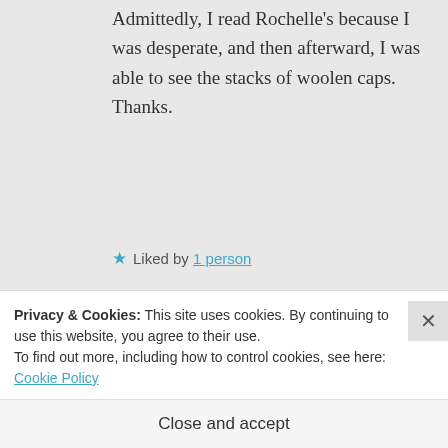Admittedly, I read Rochelle's because I was desperate, and then afterward, I was able to see the stacks of woolen caps. Thanks.
★ Liked by 1 person
Reply
anuragbakhshi says:
December 20, 2017 at 9:56 pm
Privacy & Cookies: This site uses cookies. By continuing to use this website, you agree to their use.
To find out more, including how to control cookies, see here: Cookie Policy
Close and accept